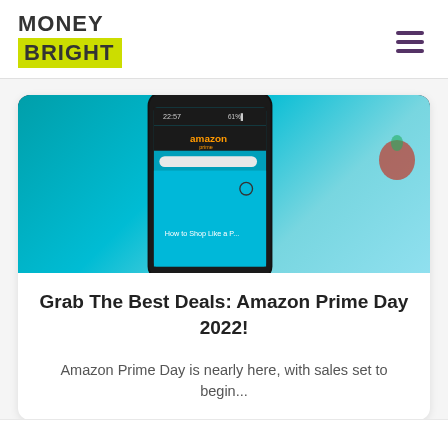MONEY BRIGHT
[Figure (photo): A smartphone showing the Amazon Prime app on a teal background, with the Amazon logo and 'How to Shop Like a...' text visible on the screen.]
Grab The Best Deals: Amazon Prime Day 2022!
Amazon Prime Day is nearly here, with sales set to begin...